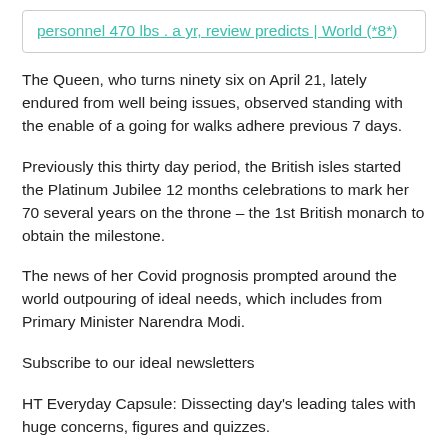personnel 470 lbs . a yr, review predicts | World (*8*)
The Queen, who turns ninety six on April 21, lately endured from well being issues, observed standing with the enable of a going for walks adhere previous 7 days.
Previously this thirty day period, the British isles started the Platinum Jubilee 12 months celebrations to mark her 70 several years on the throne – the 1st British monarch to obtain the milestone.
The news of her Covid prognosis prompted around the world outpouring of ideal needs, which includes from Primary Minister Narendra Modi.
Subscribe to our ideal newsletters
HT Everyday Capsule: Dissecting day's leading tales with huge concerns, figures and quizzes.